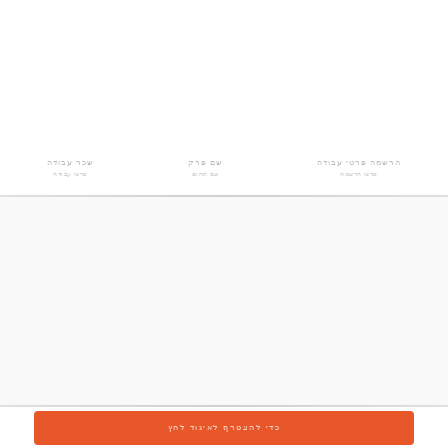שכר עבודה
שם פרק
הרשמה פרטי עבודה
[Figure (other): Light gray background section in the middle of the page]
כדי להצטרף לאיגוד לחץ